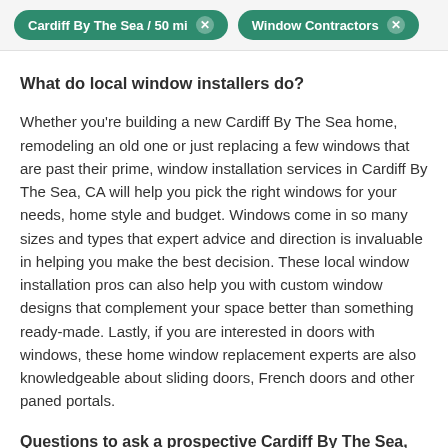Cardiff By The Sea / 50 mi  ×    Window Contractors  ×
What do local window installers do?
Whether you're building a new Cardiff By The Sea home, remodeling an old one or just replacing a few windows that are past their prime, window installation services in Cardiff By The Sea, CA will help you pick the right windows for your needs, home style and budget. Windows come in so many sizes and types that expert advice and direction is invaluable in helping you make the best decision. These local window installation pros can also help you with custom window designs that complement your space better than something ready-made. Lastly, if you are interested in doors with windows, these home window replacement experts are also knowledgeable about sliding doors, French doors and other paned portals.
Questions to ask a prospective Cardiff By The Sea, CA